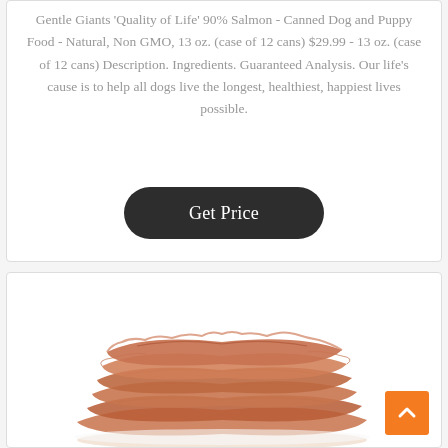Gentle Giants 'Quality of Life' 90% Salmon - Canned Dog and Puppy Food - Natural, Non GMO, 13 oz. (case of 12 cans) $29.99 - 13 oz. (case of 12 cans) Description. Ingredients. Guaranteed Analysis. Our life's cause is to help all dogs live the longest, healthiest, happiest lives possible.
[Figure (other): Dark rounded rectangle button labeled 'Get Price' in white serif text]
[Figure (photo): Photo of sliced dried meat (jerky strips) stacked on a white surface, with an orange scroll-to-top button in the bottom right corner]